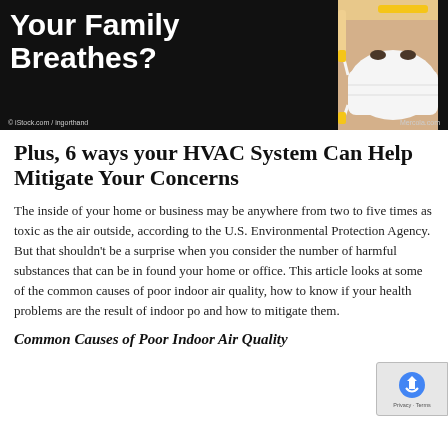[Figure (photo): Banner image with black background showing partial text 'Is the Air Your Family Breathes?' in large white bold font, with a person wearing a white respirator/N95 mask on the right side. Credit: iStock.com/ingorthand and Mercola.com]
Plus, 6 ways your HVAC System Can Help Mitigate Your Concerns
The inside of your home or business may be anywhere from two to five times as toxic as the air outside, according to the U.S. Environmental Protection Agency. But that shouldn't be a surprise when you consider the number of harmful substances that can be in found your home or office. This article looks at some of the common causes of poor indoor air quality, how to know if your health problems are the result of indoor po... and how to mitigate them.
Common Causes of Poor Indoor Air Quality